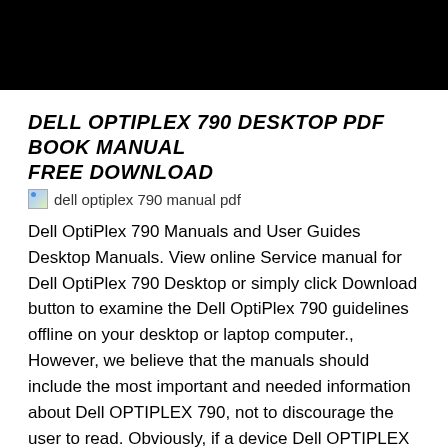[Figure (photo): Black header banner image]
DELL OPTIPLEX 790 DESKTOP PDF BOOK MANUAL FREE DOWNLOAD
[Figure (photo): Broken image placeholder icon with alt text: dell optiplex 790 manual pdf]
Dell OptiPlex 790 Manuals and User Guides Desktop Manuals. View online Service manual for Dell OptiPlex 790 Desktop or simply click Download button to examine the Dell OptiPlex 790 guidelines offline on your desktop or laptop computer., However, we believe that the manuals should include the most important and needed information about Dell OPTIPLEX 790, not to discourage the user to read. Obviously, if a device Dell OPTIPLEX 790 has multiple